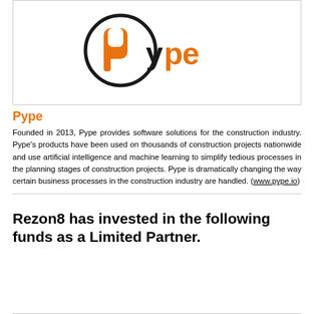[Figure (logo): Pype company logo — orange letter P inside a black circle, followed by orange lowercase 'ype' text]
Pype
Founded in 2013, Pype provides software solutions for the construction industry. Pype's products have been used on thousands of construction projects nationwide and use artificial intelligence and machine learning to simplify tedious processes in the planning stages of construction projects. Pype is dramatically changing the way certain business processes in the construction industry are handled. (www.pype.io)
Rezon8 has invested in the following funds as a Limited Partner.